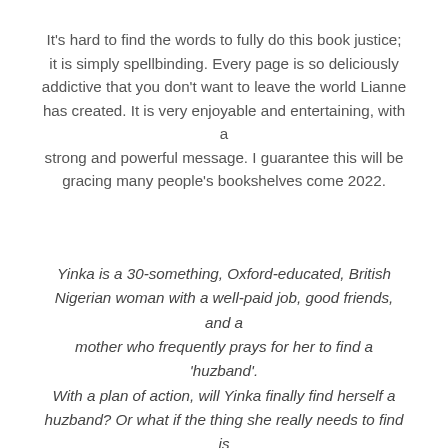It's hard to find the words to fully do this book justice; it is simply spellbinding. Every page is so deliciously addictive that you don't want to leave the world Lianne has created. It is very enjoyable and entertaining, with a strong and powerful message. I guarantee this will be gracing many people's bookshelves come 2022.
Yinka is a 30-something, Oxford-educated, British Nigerian woman with a well-paid job, good friends, and a mother who frequently prays for her to find a 'huzband'. With a plan of action, will Yinka finally find herself a huzband? Or what if the thing she really needs to find is herself?